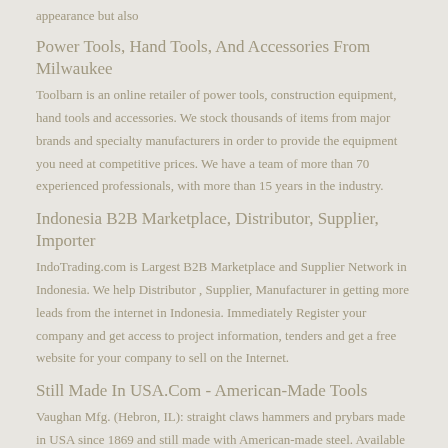appearance but also
Power Tools, Hand Tools, And Accessories From Milwaukee
Toolbarn is an online retailer of power tools, construction equipment, hand tools and accessories. We stock thousands of items from major brands and specialty manufacturers in order to provide the equipment you need at competitive prices. We have a team of more than 70 experienced professionals, with more than 15 years in the industry.
Indonesia B2B Marketplace, Distributor, Supplier, Importer
IndoTrading.com is Largest B2B Marketplace and Supplier Network in Indonesia. We help Distributor , Supplier, Manufacturer in getting more leads from the internet in Indonesia. Immediately Register your company and get access to project information, tenders and get a free website for your company to sell on the Internet.
Still Made In USA.Com - American-Made Tools
Vaughan Mfg. (Hebron, IL): straight claws hammers and prybars made in USA since 1869 and still made with American-made steel. Available from Northern Tool. Wilde Tool (Hiawatha, KS): full range of hand tools, including pliers, screwdrivers, scrapers, wrenches and specialty tools